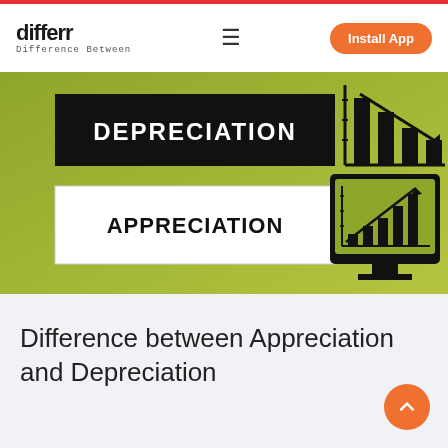differr — Difference Between | Install App
[Figure (illustration): Olive-green background image showing two labeled boxes: 'DEPRECIATION' in a black box (top left) and 'APPRECIATION' in a white box (bottom left), with two bar chart icons on the right — one showing a declining trend (top) and one showing an increasing trend on a monitor screen (bottom).]
Difference between Appreciation and Depreciation